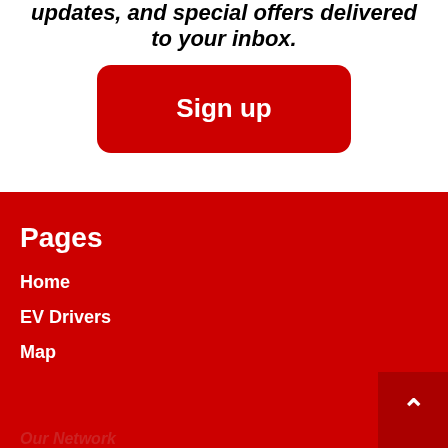updates, and special offers delivered to your inbox.
Sign up
Pages
Home
EV Drivers
Map
ChargeNet CEO & Co-founder scoo... < > What happens if I can't start char...
Our Network